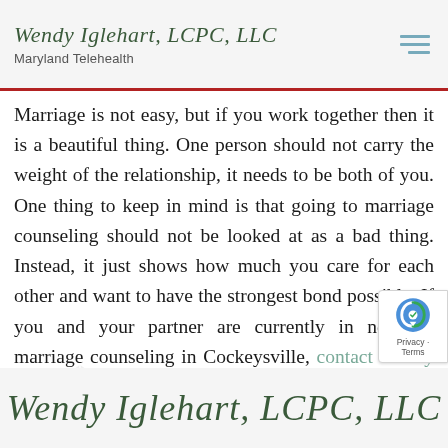Wendy Iglehart, LCPC, LLC — Maryland Telehealth
Marriage is not easy, but if you work together then it is a beautiful thing. One person should not carry the weight of the relationship, it needs to be both of you. One thing to keep in mind is that going to marriage counseling should not be looked at as a bad thing. Instead, it just shows how much you care for each other and want to have the strongest bond possible. If you and your partner are currently in need of marriage counseling in Cockeysville, contact Wendy Iglehart today.
Wendy Iglehart, LCPC, LLC